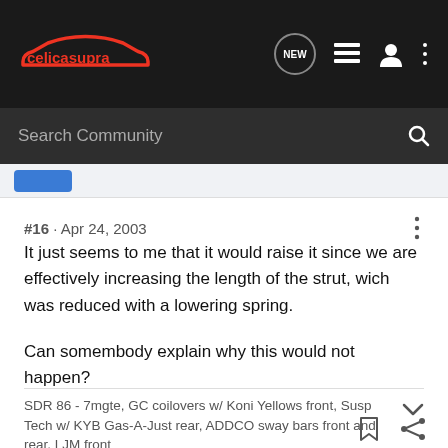celicasupra — community forum navigation bar
Search Community
#16 · Apr 24, 2003
It just seems to me that it would raise it since we are effectively increasing the length of the strut, wich was reduced with a lowering spring.

Can somembody explain why this would not happen?
SDR 86 - 7mgte, GC coilovers w/ Koni Yellows front, Susp Tech w/ KYB Gas-A-Just rear, ADDCO sway bars front and rear, LJM front